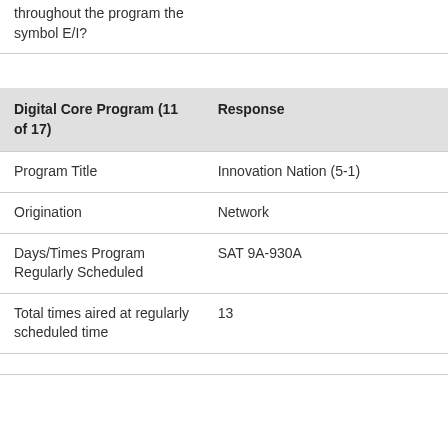| Digital Core Program (11 of 17) | Response |
| --- | --- |
| Program Title | Innovation Nation (5-1) |
| Origination | Network |
| Days/Times Program Regularly Scheduled | SAT 9A-930A |
| Total times aired at regularly scheduled time | 13 |